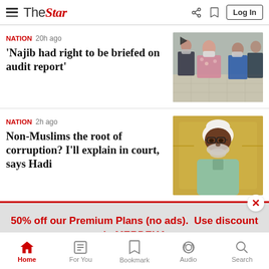The Star — navigation bar with hamburger menu, logo, share, bookmark, Log In
NATION  20h ago
'Najib had right to be briefed on audit report'
[Figure (photo): People wearing face masks walking through a corridor, news photo with a video play button overlay]
NATION  2h ago
Non-Muslims the root of corruption? I'll explain in court, says Hadi
[Figure (photo): Elderly man in white kopiah (skullcap) and light green traditional clothing, seated in front of a golden background]
50% off our Premium Plans (no ads).  Use discount code:MERDEKA.  >
Home | For You | Bookmark | Audio | Search